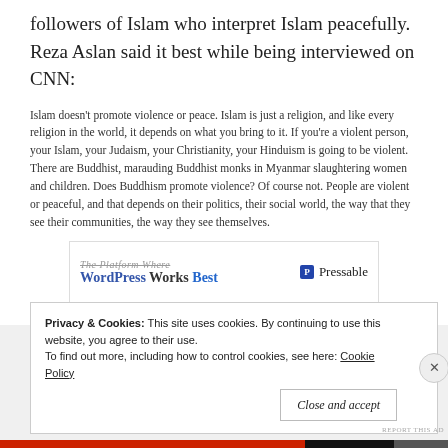followers of Islam who interpret Islam peacefully. Reza Aslan said it best while being interviewed on CNN:
Islam doesn't promote violence or peace. Islam is just a religion, and like every religion in the world, it depends on what you bring to it. If you're a violent person, your Islam, your Judaism, your Christianity, your Hinduism is going to be violent. There are Buddhist, marauding Buddhist monks in Myanmar slaughtering women and children. Does Buddhism promote violence? Of course not. People are violent or peaceful, and that depends on their politics, their social world, the way that they see their communities, the way they see themselves.
[Figure (screenshot): Advertisement banner for Pressable WordPress hosting: 'The Platform Where WordPress Works Best' with Pressable logo]
Privacy & Cookies: This site uses cookies. By continuing to use this website, you agree to their use. To find out more, including how to control cookies, see here: Cookie Policy
Close and accept